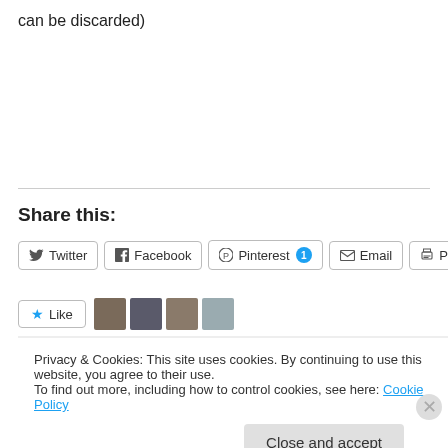can be discarded)
Share this:
[Figure (screenshot): Row of share buttons: Twitter, Facebook, Pinterest (with badge 1), Email, Print]
[Figure (screenshot): Like button with star icon and user avatar thumbnails]
Privacy & Cookies: This site uses cookies. By continuing to use this website, you agree to their use.
To find out more, including how to control cookies, see here: Cookie Policy
Close and accept